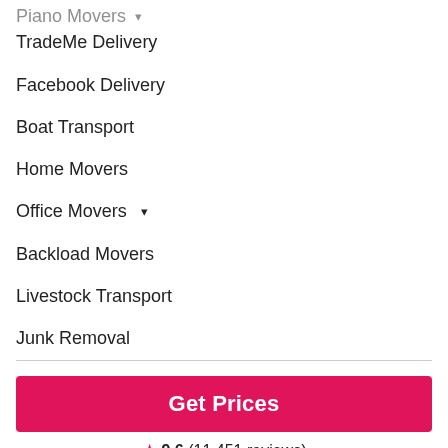Piano Movers ▼
TradeMe Delivery
Facebook Delivery
Boat Transport
Home Movers
Office Movers ▼
Backload Movers
Livestock Transport
Junk Removal
Get Prices
9.6 (11,451 reviews)